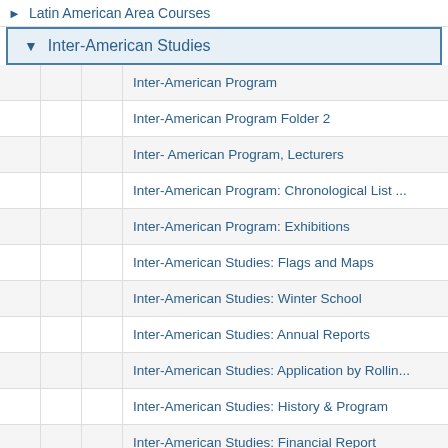Latin American Area Courses
Inter-American Studies
Inter-American Program
Inter-American Program Folder 2
Inter- American Program, Lecturers
Inter-American Program: Chronological List ...
Inter-American Program: Exhibitions
Inter-American Studies: Flags and Maps
Inter-American Studies: Winter School
Inter-American Studies: Annual Reports
Inter-American Studies: Application by Rollin...
Inter-American Studies: History & Program
Inter-American Studies: Financial Report
Inter-American Studies: Cultural Relations R...
Inter-American Studies: Activities
Inter-American: Education Committee